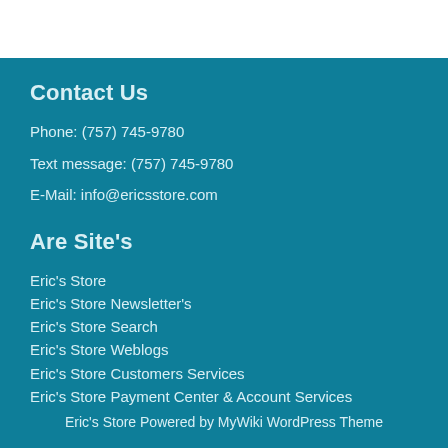Contact Us
Phone: (757) 745-9780
Text message: (757) 745-9780
E-Mail: info@ericsstore.com
Are Site's
Eric's Store
Eric's Store Newsletter's
Eric's Store Search
Eric's Store Weblogs
Eric's Store Customers Services
Eric's Store Payment Center & Account Services
Eric's Store Powered by MyWiki WordPress Theme